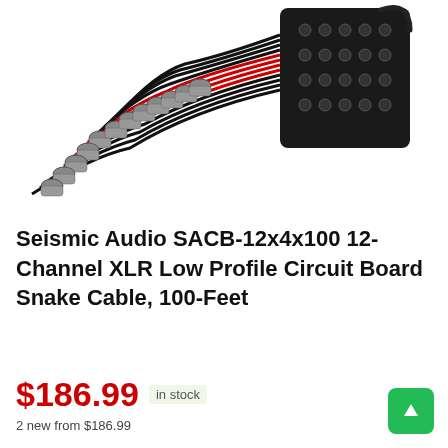[Figure (photo): Product photo of Seismic Audio SACB-12x4x100 snake cable showing multiple XLR connectors fanned out from black and red cables leading to a black circuit board stage box.]
Seismic Audio SACB-12x4x100 12-Channel XLR Low Profile Circuit Board Snake Cable, 100-Feet
$186.99  in stock
2 new from $186.99